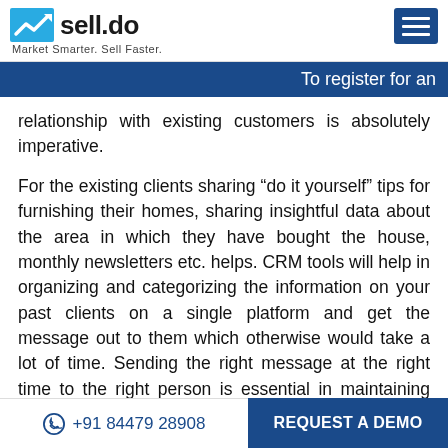sell.do — Market Smarter. Sell Faster.
To register for an
relationship with existing customers is absolutely imperative.
For the existing clients sharing “do it yourself” tips for furnishing their homes, sharing insightful data about the area in which they have bought the house, monthly newsletters etc. helps. CRM tools will help in organizing and categorizing the information on your past clients on a single platform and get the message out to them which otherwise would take a lot of time. Sending the right message at the right time to the right person is essential in maintaining relationships. Here marketing automation plays a major role in building
+91 84479 28908 | REQUEST A DEMO